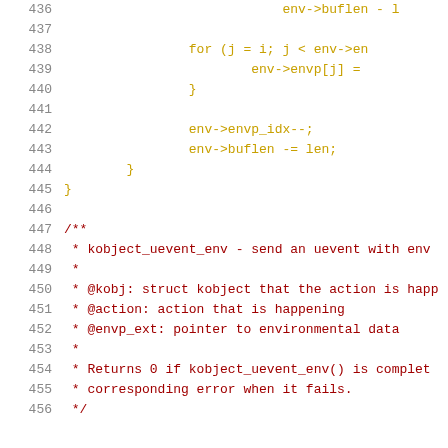436   env->buflen - l...
437   (empty line)
438   for (j = i; j < env->en...
439       env->envp[j] = ...
440       }
441   (empty line)
442   env->envp_idx--;
443   env->buflen -= len;
444       }
445   }
446   (empty line)
447   /**
448    * kobject_uevent_env - send an uevent with env...
449    *
450    * @kobj: struct kobject that the action is happ...
451    * @action: action that is happening
452    * @envp_ext: pointer to environmental data
453    *
454    * Returns 0 if kobject_uevent_env() is complet...
455    * corresponding error when it fails.
456    */